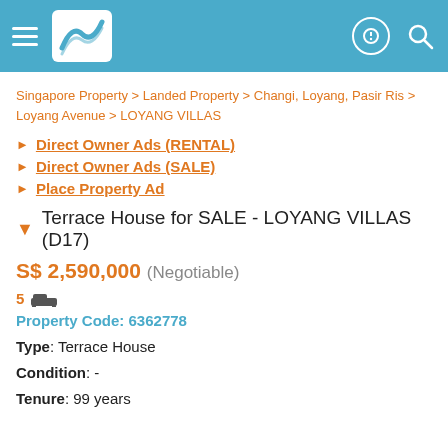Header bar with navigation icons and logo
Singapore Property > Landed Property > Changi, Loyang, Pasir Ris > Loyang Avenue > LOYANG VILLAS
Direct Owner Ads (RENTAL)
Direct Owner Ads (SALE)
Place Property Ad
Terrace House for SALE - LOYANG VILLAS (D17)
S$ 2,590,000 (Negotiable)
5 [bed icon]
Property Code: 6362778
Type: Terrace House
Condition: -
Tenure: 99 years